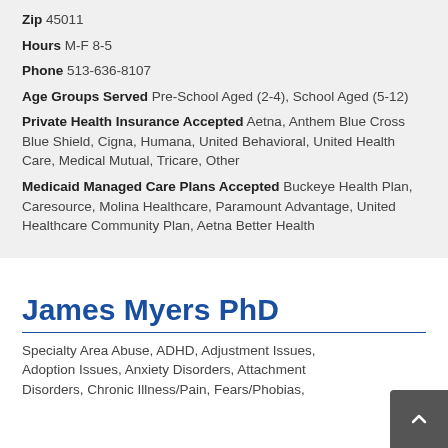Zip 45011
Hours M-F 8-5
Phone 513-636-8107
Age Groups Served Pre-School Aged (2-4), School Aged (5-12)
Private Health Insurance Accepted Aetna, Anthem Blue Cross Blue Shield, Cigna, Humana, United Behavioral, United Health Care, Medical Mutual, Tricare, Other
Medicaid Managed Care Plans Accepted Buckeye Health Plan, Caresource, Molina Healthcare, Paramount Advantage, United Healthcare Community Plan, Aetna Better Health
James Myers PhD
Specialty Area Abuse, ADHD, Adjustment Issues, Adoption Issues, Anxiety Disorders, Attachment Disorders, Chronic Illness/Pain, Fears/Phobias,